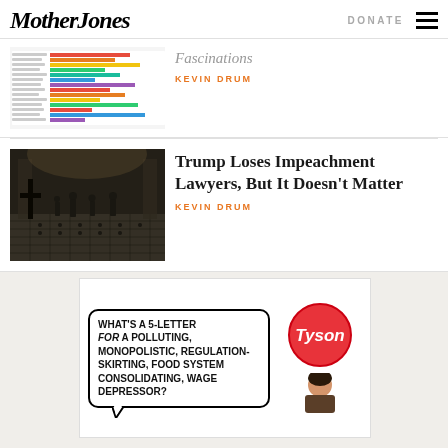Mother Jones | DONATE
[Figure (screenshot): Partially visible article with a horizontal bar chart thumbnail and partially visible title 'Fascinations' with author Kevin Drum]
Fascinations
KEVIN DRUM
[Figure (photo): Photo of the interior of the US Capitol building during the January 6 riot, showing rioters in a grand hall with black and white tile floor]
Trump Loses Impeachment Lawyers, But It Doesn't Matter
KEVIN DRUM
[Figure (illustration): Advertisement: cartoon speech bubble with text 'What's a 5-letter word for a polluting, monopolistic, regulation-skirting, food system consolidating, wage depressor?' with Tyson logo]